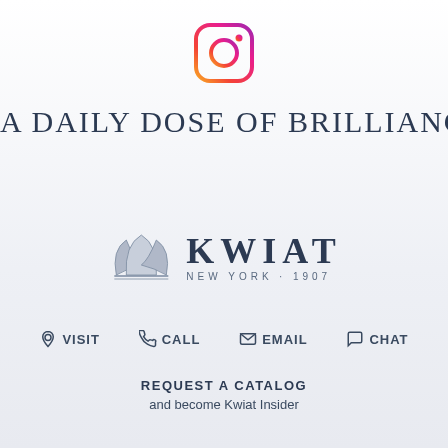[Figure (logo): Instagram logo icon with gradient (pink/orange/purple) rounded square outline and circle/dot]
A DAILY DOSE OF BRILLIANCE
[Figure (logo): Kwiat New York 1907 logo with decorative crown/diamond illustration and serif wordmark]
VISIT   CALL   EMAIL   CHAT
REQUEST A CATALOG
and become Kwiat Insider